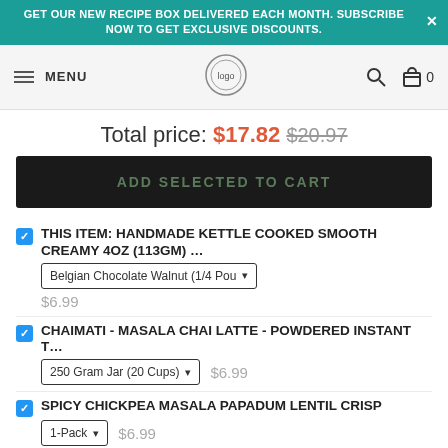GET OUR NEW RECIPE BOX DELIVERED EACH MONTH. SUBSCRIBE NOW TO GET EXCLUSIVE DISCOUNTS.
MENU [logo] [search] [cart] 0
Total price: $17.82 $20.97
ADD SELECTED TO CART
THIS ITEM: HANDMADE KETTLE COOKED SMOOTH CREAMY 4OZ (113GM) ... Belgian Chocolate Walnut (1/4 Pou ▾ $6.99
CHAIMATI - MASALA CHAI LATTE - POWDERED INSTANT T... 250 Gram Jar (20 Cups) ▾ $6.99
SPICY CHICKPEA MASALA PAPADUM LENTIL CRISP 1-Pack ▾ $6.99